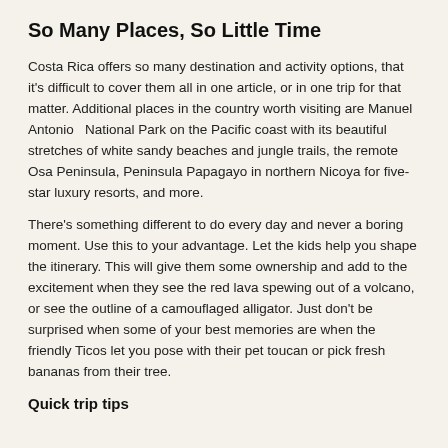So Many Places, So Little Time
Costa Rica offers so many destination and activity options, that it's difficult to cover them all in one article, or in one trip for that matter. Additional places in the country worth visiting are Manuel Antonio  National Park on the Pacific coast with its beautiful stretches of white sandy beaches and jungle trails, the remote Osa Peninsula, Peninsula Papagayo in northern Nicoya for five-star luxury resorts, and more.
There's something different to do every day and never a boring moment. Use this to your advantage. Let the kids help you shape the itinerary. This will give them some ownership and add to the excitement when they see the red lava spewing out of a volcano, or see the outline of a camouflaged alligator. Just don't be surprised when some of your best memories are when the friendly Ticos let you pose with their pet toucan or pick fresh bananas from their tree.
Quick trip tips